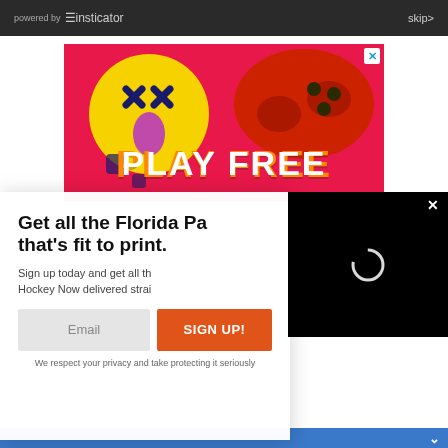powered by insticator  skip
[Figure (illustration): Colorful gaming advertisement with yellow smiley face with X eyes, red game controller on pink/red background, text 'PLAY FREE' in large orange/white letters, with close X button]
Get all the Florida Pa
that's fit to print.
Sign up today and get all th Hockey Now delivered strai
Email
SIGN UP!
We respect your privacy and take protecting it seriously
[Figure (screenshot): Black video overlay box with white X close button in top right and loading spinner ring in center]
No thanks. I don't want.